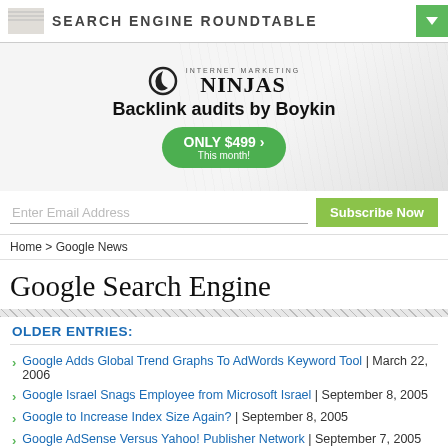SEARCH ENGINE ROUNDTABLE
[Figure (illustration): Internet Marketing Ninjas logo and ad banner: 'Backlink audits by Boykin / ONLY $499 This month!']
Enter Email Address
Subscribe Now
Home > Google News
Google Search Engine
OLDER ENTRIES:
Google Adds Global Trend Graphs To AdWords Keyword Tool | March 22, 2006
Google Israel Snags Employee from Microsoft Israel | September 8, 2005
Google to Increase Index Size Again? | September 8, 2005
Google AdSense Versus Yahoo! Publisher Network | September 7, 2005
AdWords in Google Images Results | September 7, 2005